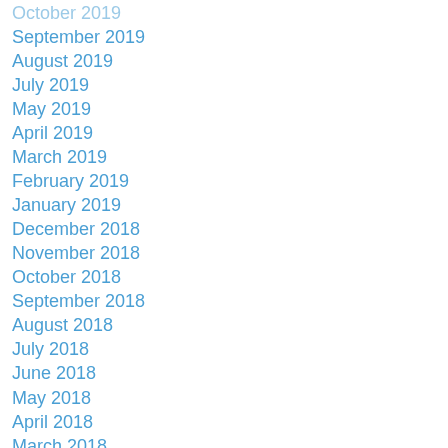October 2019
September 2019
August 2019
July 2019
May 2019
April 2019
March 2019
February 2019
January 2019
December 2018
November 2018
October 2018
September 2018
August 2018
July 2018
June 2018
May 2018
April 2018
March 2018
February 2018
January 2018